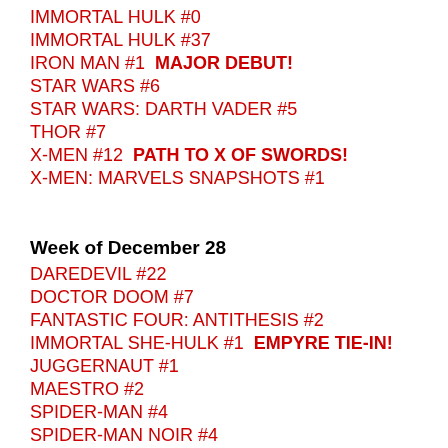IMMORTAL HULK #0
IMMORTAL HULK #37
IRON MAN #1  MAJOR DEBUT!
STAR WARS #6
STAR WARS: DARTH VADER #5
THOR #7
X-MEN #12  PATH TO X OF SWORDS!
X-MEN: MARVELS SNAPSHOTS #1
Week of December 28
DAREDEVIL #22
DOCTOR DOOM #7
FANTASTIC FOUR: ANTITHESIS #2
IMMORTAL SHE-HULK #1  EMPYRE TIE-IN!
JUGGERNAUT #1
MAESTRO #2
SPIDER-MAN #4
SPIDER-MAN NOIR #4